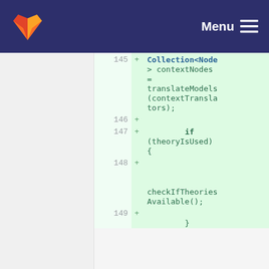GitLab - Menu
Code diff showing lines 145-149 with added lines:
145: Collection<Node> contextNodes = translateModels(contextTranslators);
146: (empty)
147: if (theoryIsUsed) {
148: checkIfTheoriesAvailable();
149: }